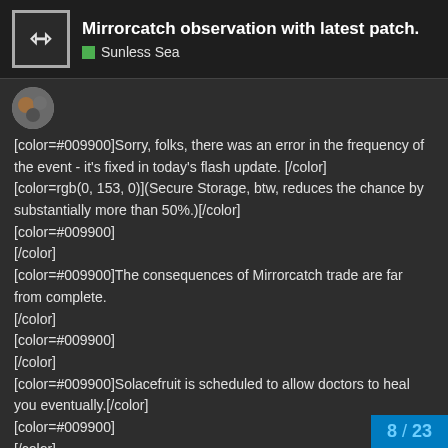Mirrorcatch observation with latest patch. — Sunless Sea
[color=#009900]Sorry, folks, there was an error in the frequency of the event - it's fixed in today's flash update. [/color]
[color=rgb(0, 153, 0)](Secure Storage, btw, reduces the chance by substantially more than 50%.)[/color]
[color=#009900]
[/color]
[color=#009900]The consequences of Mirrorcatch trade are far from complete.
[/color]
[color=#009900]
[/color]
[color=#009900]Solacefruit is scheduled to allow doctors to heal you eventually.[/color]
[color=#009900]
[/color]
[color=#009900]On with the plot![/color]
8 / 23